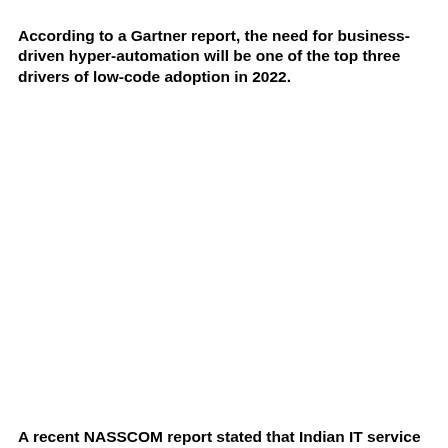According to a Gartner report, the need for business-driven hyper-automation will be one of the top three drivers of low-code adoption in 2022.
A recent NASSCOM report stated that Indian IT service